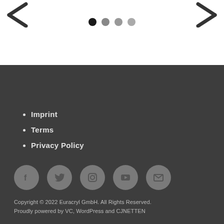[Figure (other): Navigation arrows and carousel dots at top of page. Left arrow on left side, right arrow on right side, four dots (one dark, three progressively lighter) centered below.]
Imprint
Terms
Privacy Policy
[Figure (other): Social media icons: Facebook, Twitter, Instagram, YouTube, Email — circular grey buttons in a row]
Copyright © 2022 Euracryl GmbH. All Rights Reserved.
Proudly powered by VC, WordPress and CJNETTEN